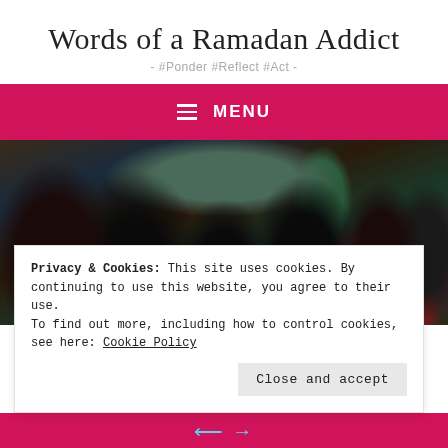Words of a Ramadan Addict
- #Ponder #Reflect #Act -
≡ MENU
[Figure (photo): Crowd of people gathered outdoors, some in dark clothing, with green foliage and red flowers visible in the foreground]
Privacy & Cookies: This site uses cookies. By continuing to use this website, you agree to their use.
To find out more, including how to control cookies, see here: Cookie Policy
Close and accept